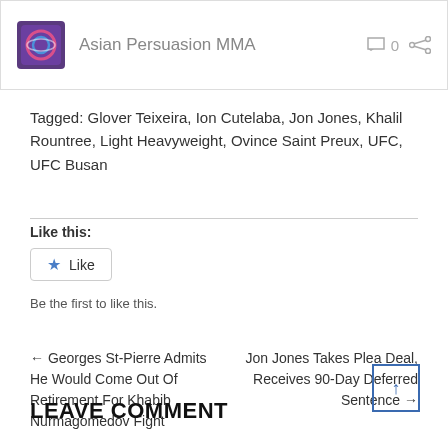Asian Persuasion MMA  0
Tagged: Glover Teixeira, Ion Cutelaba, Jon Jones, Khalil Rountree, Light Heavyweight, Ovince Saint Preux, UFC, UFC Busan
Like this:
Like
Be the first to like this.
← Georges St-Pierre Admits He Would Come Out Of Retirement For Khabib Nurmagomedov Fight
Jon Jones Takes Plea Deal, Receives 90-Day Deferred Sentence →
LEAVE COMMENT